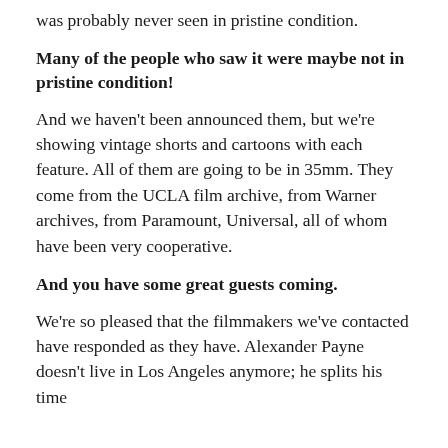was probably never seen in pristine condition.
Many of the people who saw it were maybe not in pristine condition!
And we haven't been announced them, but we're showing vintage shorts and cartoons with each feature. All of them are going to be in 35mm. They come from the UCLA film archive, from Warner archives, from Paramount, Universal, all of whom have been very cooperative.
And you have some great guests coming.
We're so pleased that the filmmakers we've contacted have responded as they have. Alexander Payne doesn't live in Los Angeles anymore; he splits his time